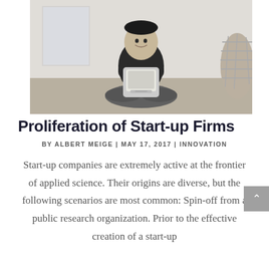[Figure (photo): Black and white photograph of a person sitting cross-legged on the floor, leaning forward with arms resting on a vintage Macintosh computer, smiling. A wicker basket is partially visible on the right.]
Proliferation of Start-up Firms
BY ALBERT MEIGE | MAY 17, 2017 | INNOVATION
Start-up companies are extremely active at the frontier of applied science. Their origins are diverse, but the following scenarios are most common: Spin-off from a public research organization. Prior to the effective creation of a start-up